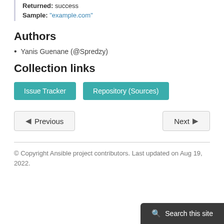Returned: success
Sample: "example.com"
Authors
Yanis Guenane (@Spredzy)
Collection links
Issue Tracker
Repository (Sources)
Previous
Next
© Copyright Ansible project contributors. Last updated on Aug 19, 2022.
Search this site